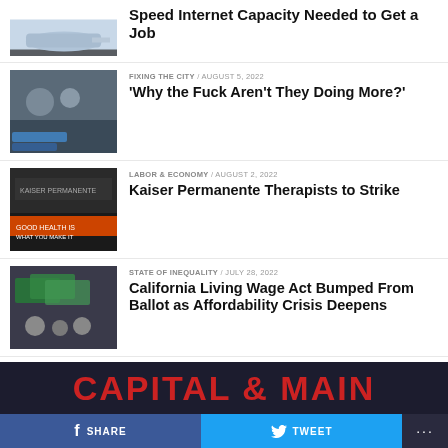[Figure (photo): Airplane thumbnail (partial, top of page)]
Speed Internet Capacity Needed to Get a Job
[Figure (photo): People at a press conference or public event]
FIXING THE CITY / August 5, 2022
'Why the Fuck Aren't They Doing More?'
[Figure (photo): Kaiser Permanente / labor strike banner]
LABOR & ECONOMY / August 2, 2022
Kaiser Permanente Therapists to Strike
[Figure (photo): US currency / coins and bills]
STATE OF INEQUALITY / July 28, 2022
California Living Wage Act Bumped From Ballot as Affordability Crisis Deepens
CAPITAL & MAIN  SHARE  TWEET
f SHARE
TWEET
...